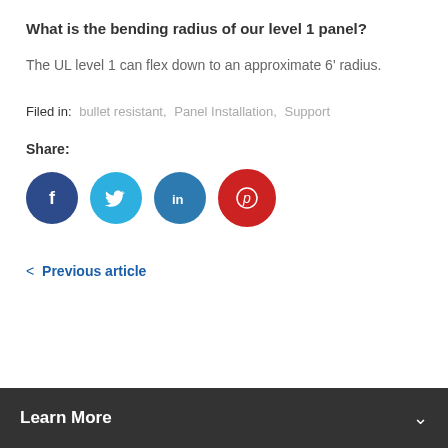What is the bending radius of our level 1 panel?
The UL level 1 can flex down to an approximate 6' radius.
Filed in:  bullet resistant,  Panel Installation,  Support
Share:
[Figure (infographic): Four social media share buttons: Facebook (dark blue circle with 'f'), Twitter (light blue circle with bird icon), LinkedIn (medium blue circle with 'in'), Pinterest (red circle with 'p').]
< Previous article
Learn More